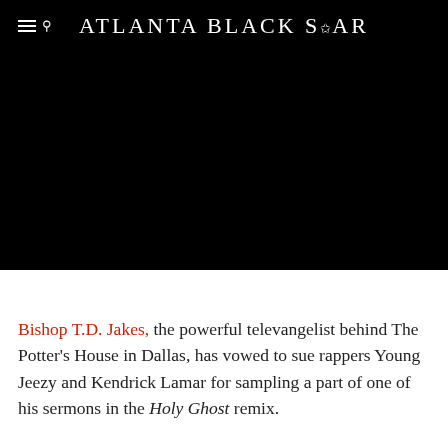Atlanta Black Star
[Figure (photo): Large dark/black hero image area below the header navigation bar]
Bishop T.D. Jakes, the powerful televangelist behind The Potter's House in Dallas, has vowed to sue rappers Young Jeezy and Kendrick Lamar for sampling a part of one of his sermons in the Holy Ghost remix.